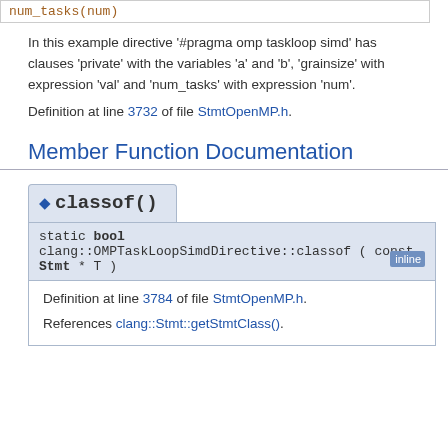num_tasks(num)
In this example directive '#pragma omp taskloop simd' has clauses 'private' with the variables 'a' and 'b', 'grainsize' with expression 'val' and 'num_tasks' with expression 'num'.
Definition at line 3732 of file StmtOpenMP.h.
Member Function Documentation
classof()
static bool clang::OMPTaskLoopSimdDirective::classof ( const Stmt * T ) inline
Definition at line 3784 of file StmtOpenMP.h.
References clang::Stmt::getStmtClass().